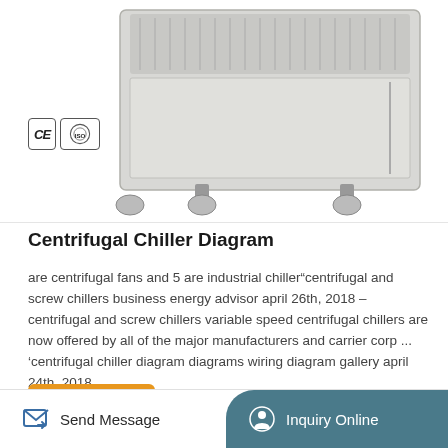[Figure (photo): Industrial chiller unit on wheels, stainless steel cabinet with ventilation grille on top, four caster wheels at the base. CE and ISO certification badges visible in lower left.]
Centrifugal Chiller Diagram
are centrifugal fans and 5 are industrial chiller“centrifugal and screw chillers business energy advisor april 26th, 2018 – centrifugal and screw chillers variable speed centrifugal chillers are now offered by all of the major manufacturers and carrier corp ... ‘centrifugal chiller diagram diagrams wiring diagram gallery april 24th, 2018 ...
More Details
Send Message   Inquiry Online